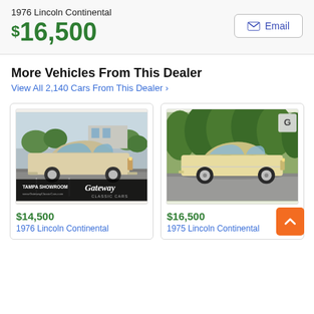1976 Lincoln Continental
$16,500
Email
More Vehicles From This Dealer
View All 2,140 Cars From This Dealer ›
[Figure (photo): Yellow/cream 1976 Lincoln Continental coupe in parking lot with Gateway Classic Cars Tampa Showroom branding overlay]
$14,500
1976 Lincoln Continental
[Figure (photo): Yellow/cream 1975 Lincoln Continental coupe parked on road with green trees in background]
$16,500
1975 Lincoln Continental